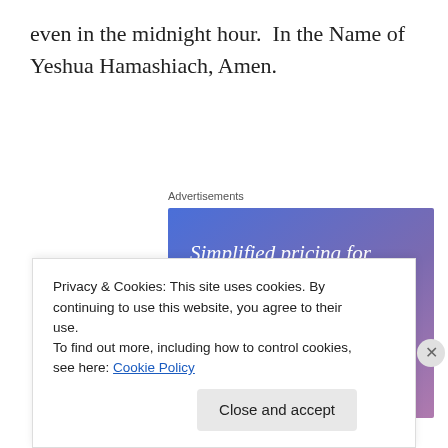even in the midnight hour.  In the Name of Yeshua Hamashiach, Amen.
Advertisements
[Figure (illustration): Advertisement banner with gradient blue-purple background showing text 'Simplified pricing for everything you need.' with a pink 'Build Your Website' button and a tan price tag graphic on the right.]
Privacy & Cookies: This site uses cookies. By continuing to use this website, you agree to their use.
To find out more, including how to control cookies, see here: Cookie Policy